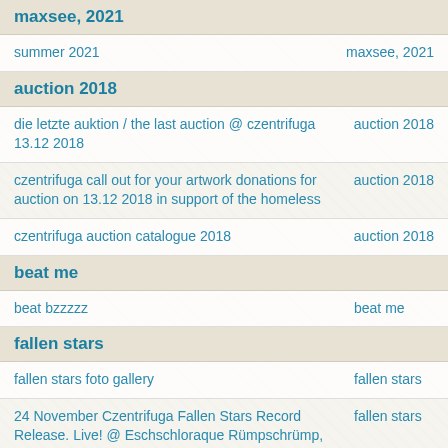maxsee, 2021
|  |  |
| --- | --- |
| summer 2021 | maxsee, 2021 |
auction 2018
|  |  |
| --- | --- |
| die letzte auktion / the last auction @ czentrifuga 13.12 2018 | auction 2018 |
| czentrifuga call out for your artwork donations for auction on 13.12 2018 in support of the homeless | auction 2018 |
| czentrifuga auction catalogue 2018 | auction 2018 |
beat me
|  |  |
| --- | --- |
| beat bzzzzz | beat me |
fallen stars
|  |  |
| --- | --- |
| fallen stars foto gallery | fallen stars |
| 24 November Czentrifuga Fallen Stars Record Release. Live! @ Eschschloraque Rümpschrümp, Berlin | fallen stars |